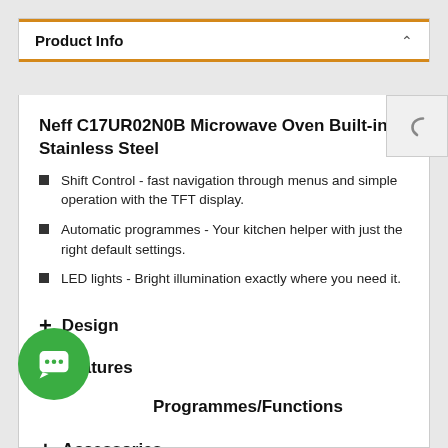Product Info
Neff C17UR02N0B Microwave Oven Built-in Stainless Steel
Shift Control - fast navigation through menus and simple operation with the TFT display.
Automatic programmes - Your kitchen helper with just the right default settings.
LED lights - Bright illumination exactly where you need it.
+ Design
+ Features
+ Programmes/Functions
+ Accessories